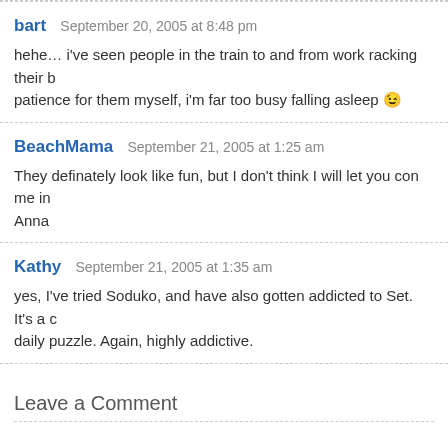bart  September 20, 2005 at 8:48 pm
hehe… i've seen people in the train to and from work racking their b... patience for them myself, i'm far too busy falling asleep 😉
BeachMama  September 21, 2005 at 1:25 am
They definately look like fun, but I don't think I will let you con me in... Anna
Kathy  September 21, 2005 at 1:35 am
yes, I've tried Soduko, and have also gotten addicted to Set. It's a c... daily puzzle. Again, highly addictive.
Leave a Comment